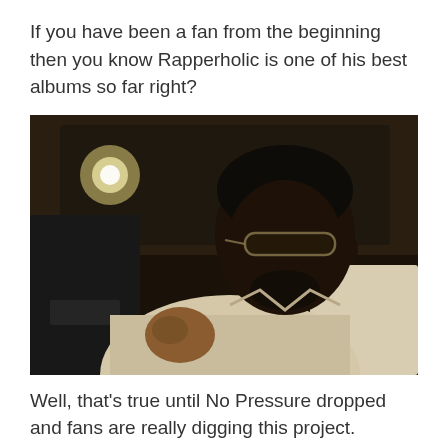If you have been a fan from the beginning then you know Rapperholic is one of his best albums so far right?
[Figure (photo): A man wearing glasses sitting in the back seat of a luxury car, looking sideways, dressed in a light-colored shirt.]
Well, that's true until No Pressure dropped and fans are really digging this project.
Although it is yet to be seen if it will have the same